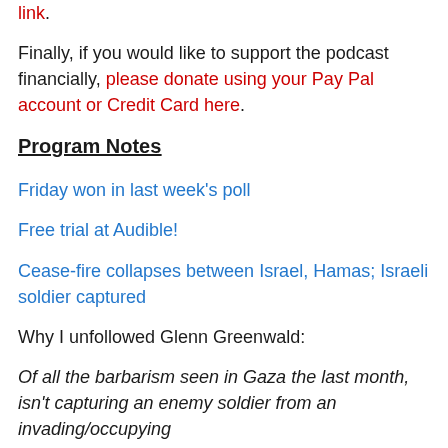link.
Finally, if you would like to support the podcast financially, please donate using your Pay Pal account or Credit Card here.
Program Notes
Friday won in last week's poll
Free trial at Audible!
Cease-fire collapses between Israel, Hamas; Israeli soldier captured
Why I unfollowed Glenn Greenwald:
Of all the barbarism seen in Gaza the last month, isn't capturing an enemy soldier from an invading/occupying